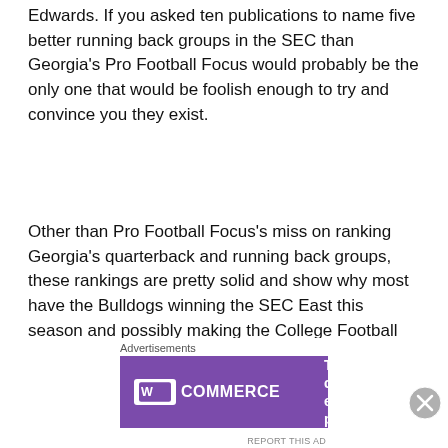Edwards. If you asked ten publications to name five better running back groups in the SEC than Georgia's Pro Football Focus would probably be the only one that would be foolish enough to try and convince you they exist.
Other than Pro Football Focus's miss on ranking Georgia's quarterback and running back groups, these rankings are pretty solid and show why most have the Bulldogs winning the SEC East this season and possibly making the College Football Playoffs. The roster is stacked with even more talent that wasn't even mentioned. This Bulldogs team is ready to show that they can compete with anyone and that is exactly what they will do starting September 4th when they face Cl...
[Figure (other): WooCommerce advertisement banner: purple background with WooCommerce logo and text 'The most customizable eCommerce platform']